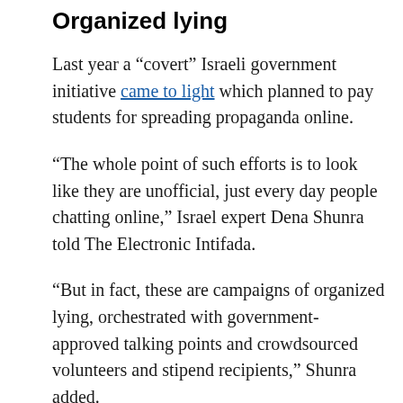Organized lying
Last year a “covert” Israeli government initiative came to light which planned to pay students for spreading propaganda online.
“The whole point of such efforts is to look like they are unofficial, just every day people chatting online,” Israel expert Dena Shunra told The Electronic Intifada.
“But in fact, these are campaigns of organized lying, orchestrated with government-approved talking points and crowdsourced volunteers and stipend recipients,” Shunra added.
According to Ynet, “The war room was opened in the afternoon of the first day of Operation Protective Edge,” one week ago, by the IDC Herzliya student union, and currently has more than 400 volunteers active in it, all students at the institution.